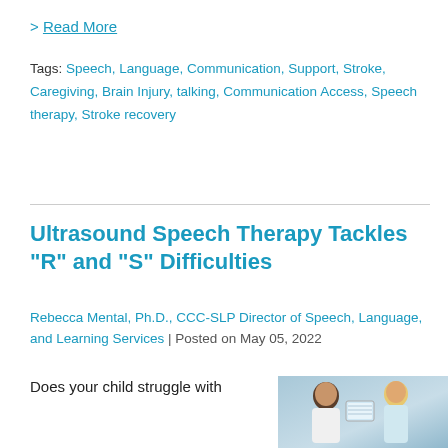> Read More
Tags: Speech, Language, Communication, Support, Stroke, Caregiving, Brain Injury, talking, Communication Access, Speech therapy, Stroke recovery
Ultrasound Speech Therapy Tackles "R" and "S" Difficulties
Rebecca Mental, Ph.D., CCC-SLP Director of Speech, Language, and Learning Services | Posted on May 05, 2022
Does your child struggle with
[Figure (photo): Two people (one with dark hair, one with blonde hair) viewed from behind/side, appearing to look at a monitor or screen, in a clinical or educational setting.]